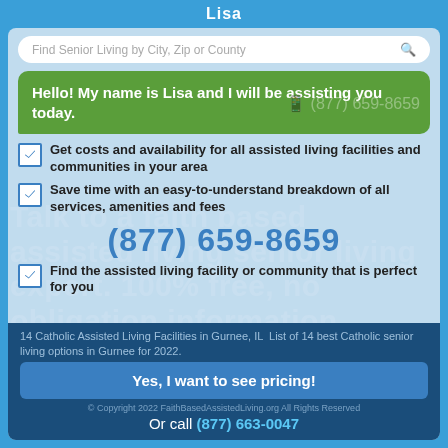Lisa
Find Senior Living by City, Zip or County
Hello! My name is Lisa and I will be assisting you today.
(877) 659-8659
Talk to a faith based assisted living senior living expert. 100% free, no obligation information.
Get costs and availability for all assisted living facilities and communities in your area
Save time with an easy-to-understand breakdown of all services, amenities and fees
(877) 659-8659
Find the assisted living facility or community that is perfect for you
14 Catholic Assisted Living Facilities in Gurnee, IL  List of 14 best Catholic senior living options in Gurnee for 2022.
Yes, I want to see pricing!
© Copyright 2022 FaithBasedAssistedLiving.org All Rights Reserved
Or call (877) 663-0047